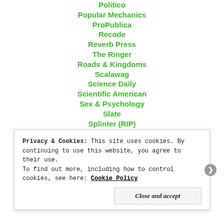Politico
Popular Mechanics
ProPublica
Recode
Reverb Press
The Ringer
Roads & Kingdoms
Scalawag
Science Daily
Scientific American
Sex & Psychology
Slate
Splinter (RIP)
The Stranger
Syfy Wire
TechCrunch
The Undefeated
Vanity Fair
Privacy & Cookies: This site uses cookies. By continuing to use this website, you agree to their use.
To find out more, including how to control cookies, see here: Cookie Policy
Close and accept